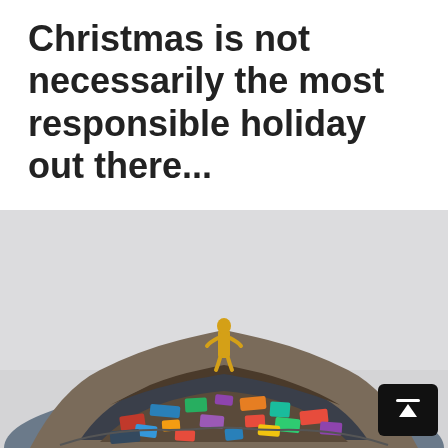Christmas is not necessarily the most responsible holiday out there...
[Figure (photo): A large mound of colorful discarded clothing with a gold human figure statue standing on top of it, photographed against a light grey background. A black scroll-to-top button is overlaid in the bottom right corner.]